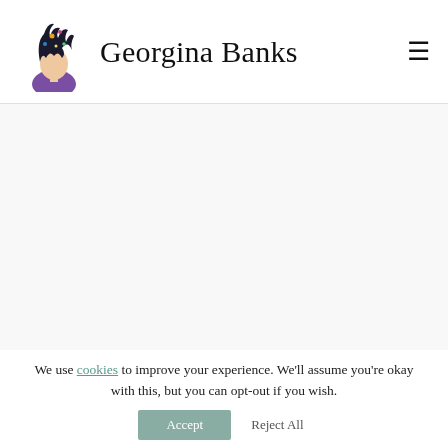Georgina Banks
[Figure (illustration): Logo of Georgina Banks website: a stylized illustration of a person with a dark cosmic/starry hair and purple clothing, viewed from the side.]
Georgina Banks
We use cookies to improve your experience. We'll assume you're okay with this, but you can opt-out if you wish. Accept  Reject All